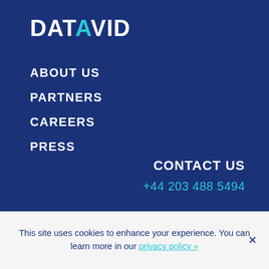DATAVID
ABOUT US
PARTNERS
CAREERS
PRESS
CONTACT US
+44 203 488 5494
This site uses cookies to enhance your experience. You can learn more in our privacy policy »